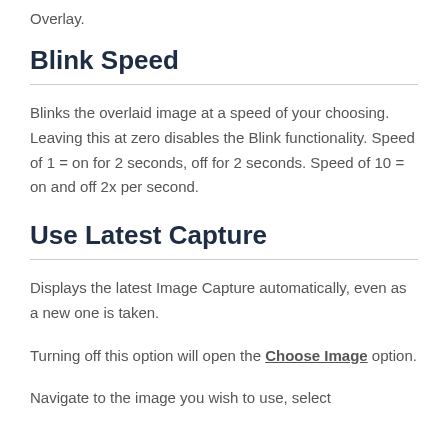Overlay.
Blink Speed
Blinks the overlaid image at a speed of your choosing.  Leaving this at zero disables the Blink functionality. Speed of 1 = on for 2 seconds, off for 2 seconds. Speed of 10 = on and off 2x per second.
Use Latest Capture
Displays the latest Image Capture automatically, even as a new one is taken.
Turning off this option will open the Choose Image option.
Navigate to the image you wish to use, select